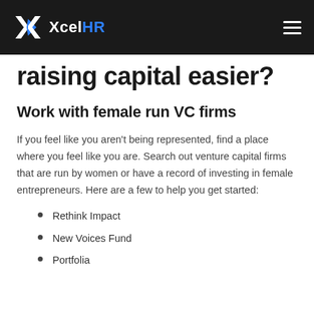XcelHR
raising capital easier?
Work with female run VC firms
If you feel like you aren't being represented, find a place where you feel like you are. Search out venture capital firms that are run by women or have a record of investing in female entrepreneurs. Here are a few to help you get started:
Rethink Impact
New Voices Fund
Portfolia